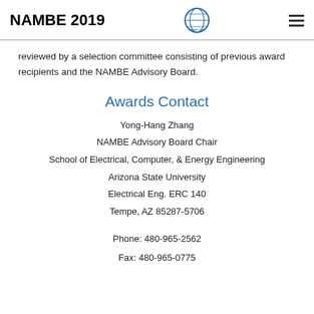NAMBE 2019
reviewed by a selection committee consisting of previous award recipients and the NAMBE Advisory Board.
Awards Contact
Yong-Hang Zhang
NAMBE Advisory Board Chair
School of Electrical, Computer, & Energy Engineering
Arizona State University
Electrical Eng. ERC 140
Tempe, AZ 85287-5706
Phone: 480-965-2562
Fax: 480-965-0775